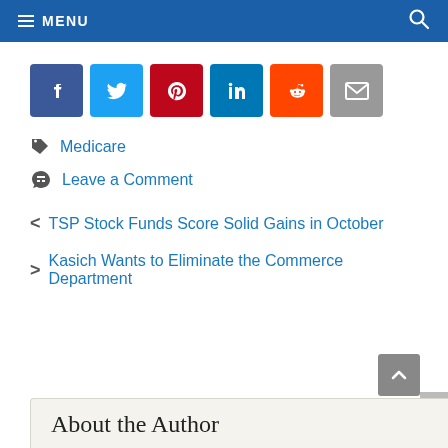MENU
[Figure (infographic): Row of social share icon buttons: Facebook (blue), Twitter (light blue), Pinterest (red), LinkedIn (teal), Reddit (orange), Email (gray)]
Medicare
Leave a Comment
< TSP Stock Funds Score Solid Gains in October
> Kasich Wants to Eliminate the Commerce Department
About the Author